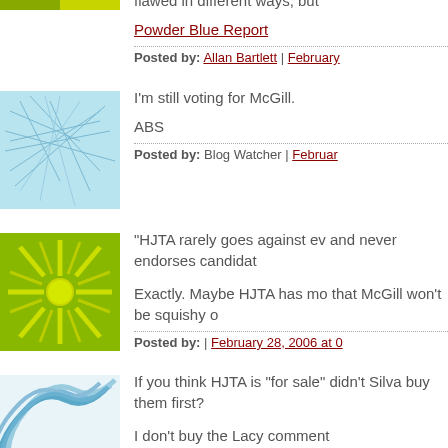flawed in different ways, but
Powder Blue Report
Posted by: Allan Bartlett | February
I'm still voting for McGill.

ABS
Posted by: Blog Watcher | Februar
"HJTA rarely goes against ev and never endorses candidat
Exactly. Maybe HJTA has mo that McGill won't be squishy o
Posted by: | February 28, 2006 at 0
If you think HJTA is "for sale" didn't Silva buy them first?

I don't buy the Lacy comment